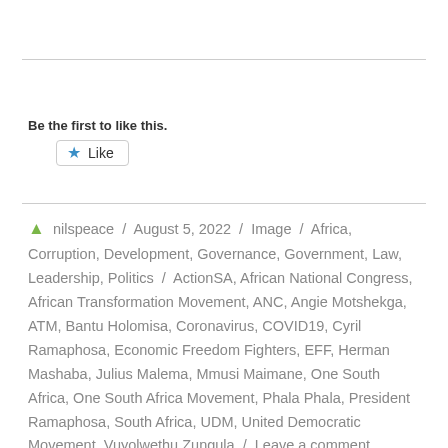[Figure (other): Like button widget with blue star icon and 'Like' label in a bordered box]
Be the first to like this.
🌿 nilspeace / August 5, 2022 / Image / Africa, Corruption, Development, Governance, Government, Law, Leadership, Politics / ActionSA, African National Congress, African Transformation Movement, ANC, Angie Motshekga, ATM, Bantu Holomisa, Coronavirus, COVID19, Cyril Ramaphosa, Economic Freedom Fighters, EFF, Herman Mashaba, Julius Malema, Mmusi Maimane, One South Africa, One South Africa Movement, Phala Phala, President Ramaphosa, South Africa, UDM, United Democratic Movement, Vuyolwethu Zungula / Leave a comment